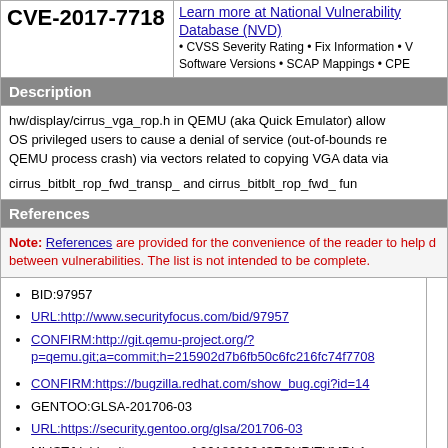CVE-2017-7718
Learn more at National Vulnerability Database (NVD) • CVSS Severity Rating • Fix Information • Vendor Advisories • Software Versions • SCAP Mappings • CPE
Description
hw/display/cirrus_vga_rop.h in QEMU (aka Quick Emulator) allows local OS privileged users to cause a denial of service (out-of-bounds read and QEMU process crash) via vectors related to copying VGA data via the cirrus_bitblt_rop_fwd_transp_ and cirrus_bitblt_rop_fwd_ functions.
References
Note: References are provided for the convenience of the reader to help differentiate between vulnerabilities. The list is not intended to be complete.
BID:97957
URL:http://www.securityfocus.com/bid/97957
CONFIRM:http://git.qemu-project.org/?p=qemu.git;a=commit;h=215902d7b6fb50c6fc216fc74f7708
CONFIRM:https://bugzilla.redhat.com/show_bug.cgi?id=14...
GENTOO:GLSA-201706-03
URL:https://security.gentoo.org/glsa/201706-03
MLIST:[debian-lts-announce] 20180906 [SECURITY] [DLA ...] qemu security update
URL:https://lists.debian.org/debian-lts-announce/...